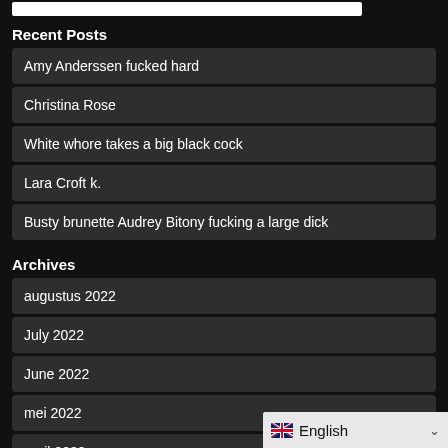Recent Posts
Amy Anderssen fucked hard
Christina Rose
White whore takes a big black cock
Lara Croft k.
Busty brunette Audrey Bitony fucking a large dick
Archives
augustus 2022
July 2022
June 2022
mei 2022
april 2022
October 2021
september 2021